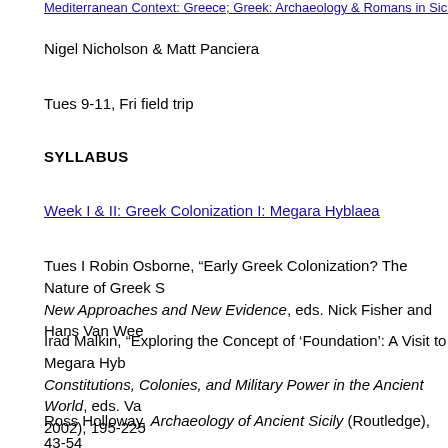Mediterranean Context: Greece; Greek: Archaeology & Romans in Sicily
Nigel Nicholson & Matt Panciera
Tues 9-11, Fri field trip
SYLLABUS
Week I & II: Greek Colonization I: Megara Hyblaea
Tues I Robin Osborne, “Early Greek Colonization? The Nature of Greek S New Approaches and New Evidence, eds. Nick Fisher and Hans Van Wee
Irad Malkin, “Exploring the Concept of ‘Foundation’: A Visit to Megara Hyb Constitutions, Colonies, and Military Power in the Ancient World, eds. Var 2002), 195-225
Ross Holloway, Archaeology of Ancient Sicily (Routledge), 43-54